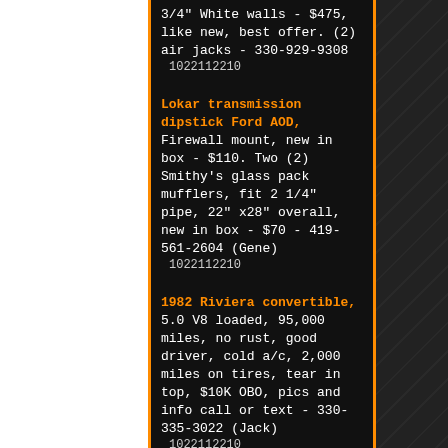3/4" White walls - $475, like new, best offer. (2) air jacks - 330-929-9308
1022112210
Lokar transmission dipstick Ford AOD, Firewall mount, new in box - $110. Two (2) Smithy's glass pack mufflers, fit 2 1/4" pipe, 22" x28" overall, new in box - $70 - 419-561-2604 (Gene)
1022112210
1982 Riviera convertible, 5.0 V8 loaded, 95,000 miles, no rust, good driver, cold a/c, 2,000 miles on tires, tear in top, $10K OBO, pics and info call or text - 330-335-3022 (Jack)
1022112210
1975 Nova Bumper Filler - rear left filler, rear right filler, rear center filler - $100 for all three pieces - 330-452-4393 (Lynn)   1022112210